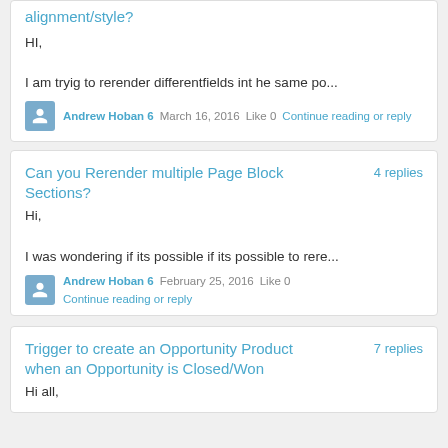alignment/style?
HI,

I am tryig to rerender differentfields int he same po...
Andrew Hoban 6   March 16, 2016   Like 0   Continue reading or reply
Can you Rerender multiple Page Block Sections?   4 replies
Hi,

I was wondering if its possible if its possible to rere...
Andrew Hoban 6   February 25, 2016   Like 0   Continue reading or reply
Trigger to create an Opportunity Product when an Opportunity is Closed/Won   7 replies
Hi all,